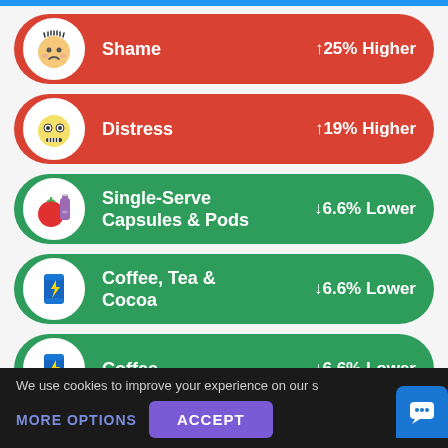Shame ↑25% Higher
Distress ↑19% Higher
Single-Serve Capsules & Pods ↓6.6% Lower
Coffee, Tea & Cocoa ↓6.6% Lower
Coffee ↓6.6% Lower
We use cookies to improve your experience on our s
MORE OPTIONS
ACCEPT